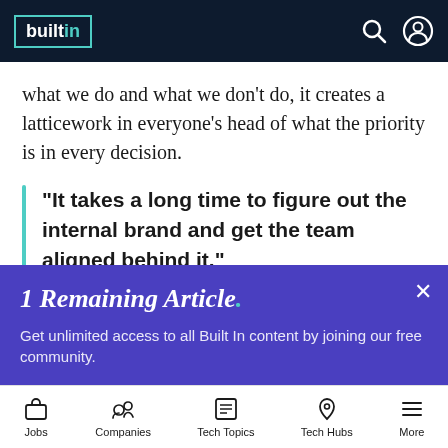builtin
what we do and what we don't do, it creates a latticework in everyone's head of what the priority is in every decision.
“It takes a long time to figure out the internal brand and get the team aligned behind it.”
I recently sent a survey to our whole team asking how they describe what our agency
1 Remaining Article.
Get unlimited access to all Built In content by joining our free community.
Jobs  Companies  Tech Topics  Tech Hubs  More